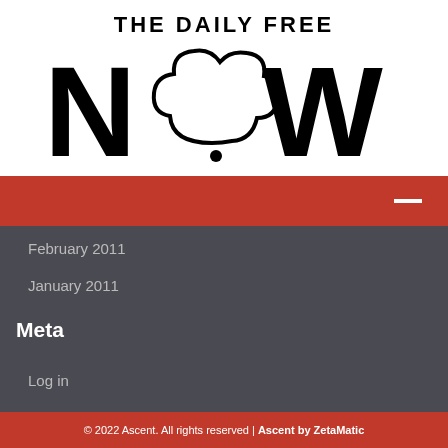[Figure (logo): The Daily Free Now logo — black text 'THE DAILY FREE' above large 'NOW' with a cloud/thought bubble replacing the 'O']
[Figure (other): Red navigation bar with white hamburger menu icon (minus/dash) on the right]
February 2011
January 2011
Meta
Log in
© 2022 Ascent. All rights reserved | Ascent by ZetaMatic